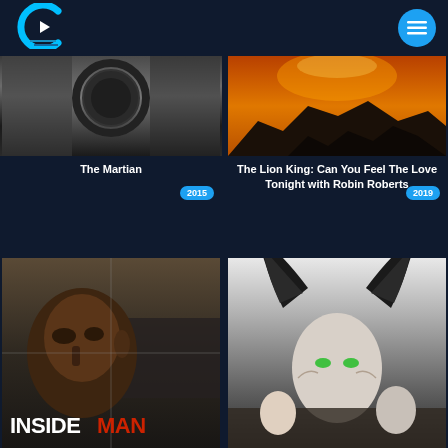[Figure (logo): Streaming app logo — cyan C shape with play triangle and film strip lines]
[Figure (photo): The Martian movie poster thumbnail, dark industrial scene, year badge 2015]
The Martian
[Figure (photo): The Lion King documentary thumbnail, fiery orange sky with rock silhouettes, year badge 2019]
The Lion King: Can You Feel The Love Tonight with Robin Roberts
[Figure (photo): Inside Man movie poster thumbnail showing Denzel Washington with INSIDE MAN text]
[Figure (photo): Maleficent movie poster thumbnail showing character with large black horns]